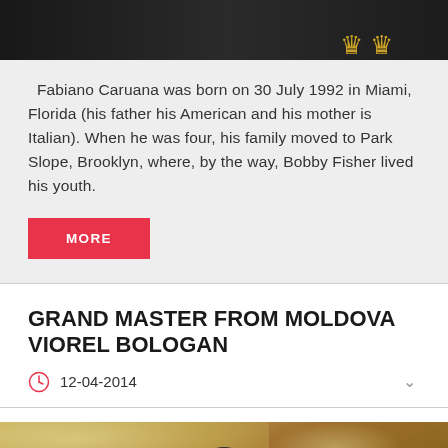[Figure (photo): Top portion of a chess-related photo showing dark background with golden chess pieces partially visible]
Fabiano Caruana was born on 30 July 1992 in Miami, Florida (his father his American and his mother is Italian). When he was four, his family moved to Park Slope, Brooklyn, where, by the way, Bobby Fisher lived his youth.
MORE
GRAND MASTER FROM MOLDOVA VIOREL BOLOGAN
12-04-2014
[Figure (photo): Photo of a man (chess grandmaster Viorel Bologan) leaning over, taken in a tournament hall with ceiling lights visible]